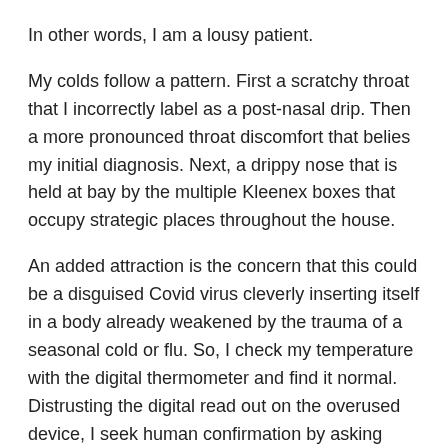In other words, I am a lousy patient.
My colds follow a pattern. First a scratchy throat that I incorrectly label as a post-nasal drip. Then a more pronounced throat discomfort that belies my initial diagnosis. Next, a drippy nose that is held at bay by the multiple Kleenex boxes that occupy strategic places throughout the house.
An added attraction is the concern that this could be a disguised Covid virus cleverly inserting itself in a body already weakened by the trauma of a seasonal cold or flu. So, I check my temperature with the digital thermometer and find it normal. Distrusting the digital read out on the overused device, I seek human confirmation by asking Jackie to “feel my head.”